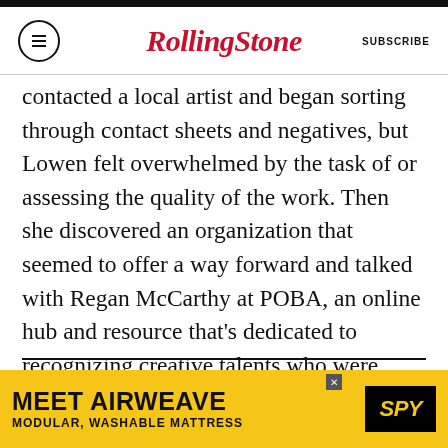RollingStone | SUBSCRIBE
contacted a local artist and began sorting through contact sheets and negatives, but Lowen felt overwhelmed by the task of or assessing the quality of the work. Then she discovered an organization that seemed to offer a way forward and talked with Regan McCarthy at POBA, an online hub and resource that’s dedicated to recognizing creative talents who were under-recognized during their life.
RELATED
[Figure (photo): Small grayscale thumbnail image related to the article]
[Figure (infographic): Advertisement banner: MEET AIRWEAVE - MODULAR, WASHABLE MATTRESS with SPY logo on yellow background]